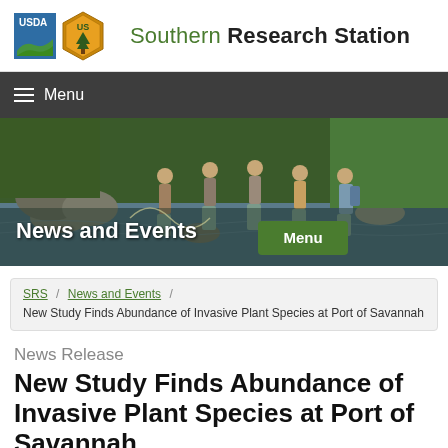[Figure (logo): USDA Forest Service Southern Research Station logo with USDA text logo and forest service badge]
Southern Research Station
Menu
[Figure (photo): People conducting field research wading in a river stream with nets and equipment, surrounded by trees and rocks]
News and Events
Menu
SRS / News and Events / New Study Finds Abundance of Invasive Plant Species at Port of Savannah
News Release
New Study Finds Abundance of Invasive Plant Species at Port of Savannah